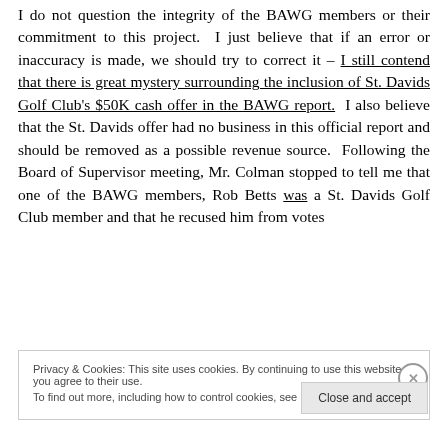I do not question the integrity of the BAWG members or their commitment to this project. I just believe that if an error or inaccuracy is made, we should try to correct it – I still contend that there is great mystery surrounding the inclusion of St. Davids Golf Club's $50K cash offer in the BAWG report. I also believe that the St. Davids offer had no business in this official report and should be removed as a possible revenue source. Following the Board of Supervisor meeting, Mr. Colman stopped to tell me that one of the BAWG members, Rob Betts was a St. Davids Golf Club member and that he recused him from votes
Privacy & Cookies: This site uses cookies. By continuing to use this website, you agree to their use. To find out more, including how to control cookies, see here: Cookie Policy